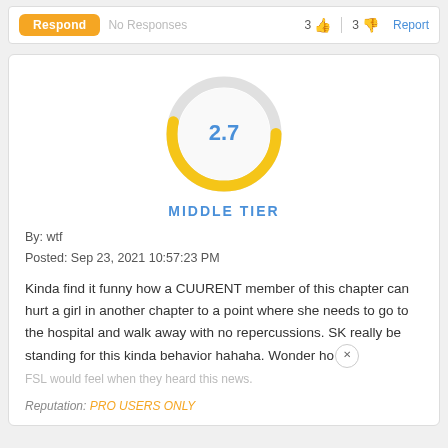[Figure (other): Top bar with Respond button, No Responses text, thumbs up count 3, thumbs down count 3, and Report link]
[Figure (donut-chart): Donut/gauge chart showing score 2.7, labeled MIDDLE TIER. Yellow arc covers about 270 degrees, gray arc covers remaining portion.]
By: wtf
Posted: Sep 23, 2021 10:57:23 PM
Kinda find it funny how a CUURENT member of this chapter can hurt a girl in another chapter to a point where she needs to go to the hospital and walk away with no repercussions. SK really be standing for this kinda behavior hahaha. Wonder ho FSL would feel when they heard this news.
Reputation: PRO USERS ONLY